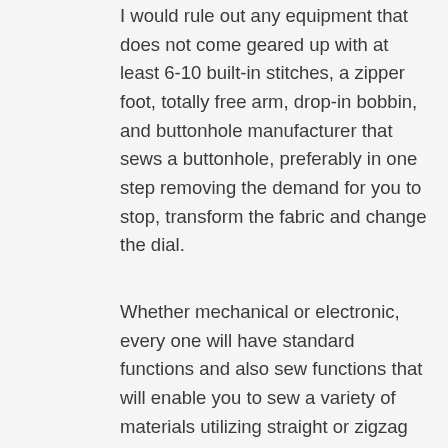I would rule out any equipment that does not come geared up with at least 6-10 built-in stitches, a zipper foot, totally free arm, drop-in bobbin, and buttonhole manufacturer that sews a buttonhole, preferably in one step removing the demand for you to stop, transform the fabric and change the dial.
Whether mechanical or electronic, every one will have standard functions and also sew functions that will enable you to sew a variety of materials utilizing straight or zigzag stitches and also stitch sizes. Do not be satisfied with the fundamental functionality yet look past to the added features and accessories that makes each stitching device a right of fulfill the need